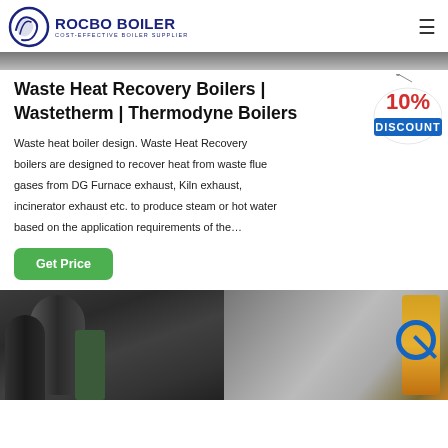ROCBO BOILER — COST-EFFECTIVE BOILER SUPPLIER
[Figure (photo): Top strip of a boiler/industrial equipment photo (partially visible, cropped at top)]
Waste Heat Recovery Boilers | Wastetherm | Thermodyne Boilers
[Figure (infographic): 10% DISCOUNT badge/sticker overlaid on the text area]
Waste heat boiler design. Waste Heat Recovery boilers are designed to recover heat from waste flue gases from DG Furnace exhaust, Kiln exhaust, incinerator exhaust etc. to produce steam or hot water based on the application requirements of the…
[Figure (photo): Green 'Get Price' button]
[Figure (photo): Industrial boiler equipment photo showing large dark cylindrical boilers on left and industrial piping/machinery with yellow component on right]